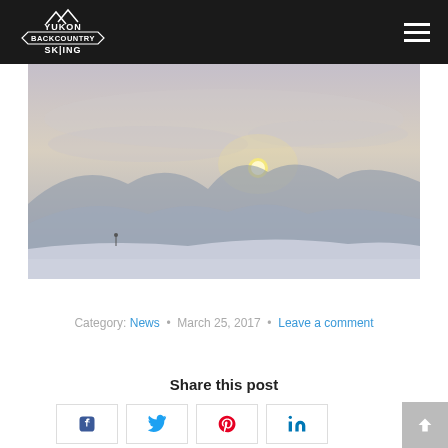Yukon Backcountry Skiing
[Figure (photo): Winter landscape with snow-covered mountains and a pale sun visible through misty clouds near the horizon]
Category: News • March 25, 2017 • Leave a comment
Share this post
[Figure (infographic): Social media share buttons: Facebook, Twitter, Pinterest, LinkedIn]